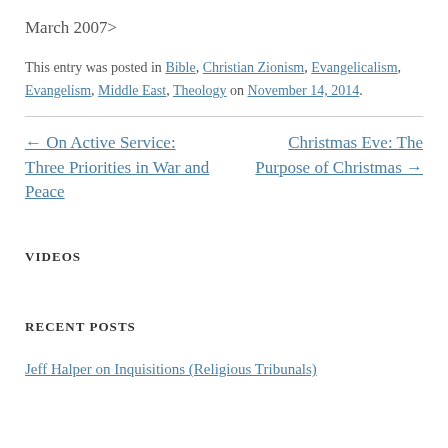March 2007>
This entry was posted in Bible, Christian Zionism, Evangelicalism, Evangelism, Middle East, Theology on November 14, 2014.
← On Active Service: Three Priorities in War and Peace
Christmas Eve: The Purpose of Christmas →
VIDEOS
RECENT POSTS
Jeff Halper on Inquisitions (Religious Tribunals)